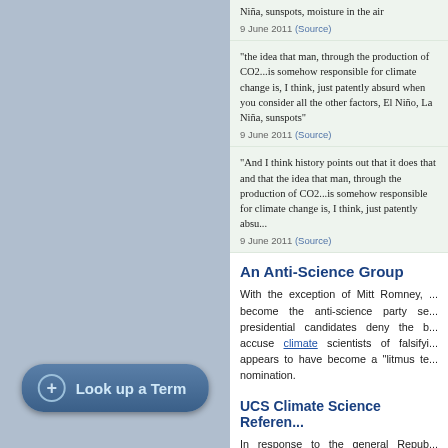Niña, sunspots, moisture in the air
9 June 2011 (Source)
"the idea that man, through the production of CO2...is somehow responsible for climate change is, I think, just patently absurd when you consider all the other factors, El Niño, La Niña, sunspots"
9 June 2011 (Source)
"And I think history points out that it does that and that the idea that man, through the production of CO2...is somehow responsible for climate change is, I think, just patently absu...
9 June 2011 (Source)
An Anti-Science Group
With the exception of Mitt Romney, ... become the anti-science party se... presidential candidates deny the b... accuse climate scientists of falsifyi... appears to have become a "litmus te... nomination.
UCS Climate Science Referen...
In response to the general Repub... Scientists (UCS) has assembled a r... statements from scientific societies...
Look up a Term